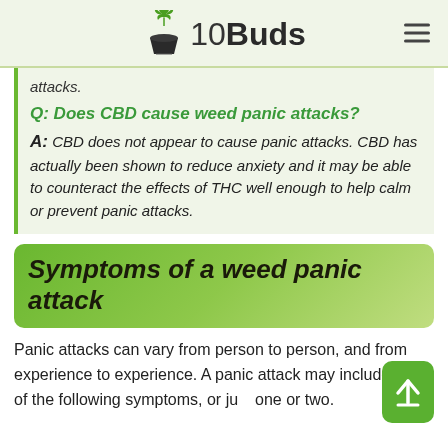10Buds
attacks.
Q: Does CBD cause weed panic attacks? A: CBD does not appear to cause panic attacks. CBD has actually been shown to reduce anxiety and it may be able to counteract the effects of THC well enough to help calm or prevent panic attacks.
Symptoms of a weed panic attack
Panic attacks can vary from person to person, and from experience to experience. A panic attack may include many of the following symptoms, or just one or two.